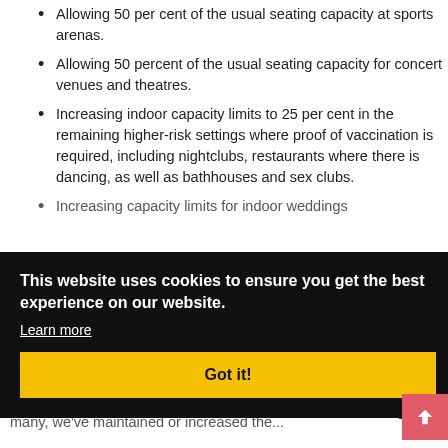Allowing 50 per cent of the usual seating capacity at sports arenas.
Allowing 50 percent of the usual seating capacity for concert venues and theatres.
Increasing indoor capacity limits to 25 per cent in the remaining higher-risk settings where proof of vaccination is required, including nightclubs, restaurants where there is dancing, as well as bathhouses and sex clubs.
Increasing capacity limits for indoor weddings...
This website uses cookies to ensure you get the best experience on our website. Learn more
Got it!
...es to...tres...f the...the...uch...ng...many, we've maintained or increased the...